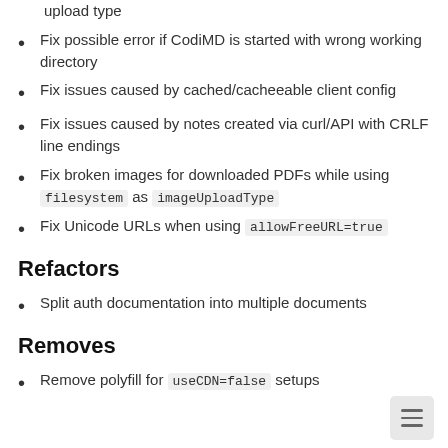upload type
Fix possible error if CodiMD is started with wrong working directory
Fix issues caused by cached/cacheeable client config
Fix issues caused by notes created via curl/API with CRLF line endings
Fix broken images for downloaded PDFs while using filesystem as imageUploadType
Fix Unicode URLs when using allowFreeURL=true
Refactors
Split auth documentation into multiple documents
Removes
Remove polyfill for useCDN=false setups